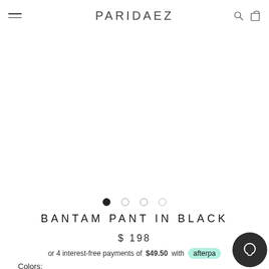PARIDAEZ
[Figure (other): Product image carousel area with 4 navigation dots, first dot filled indicating current slide]
BANTAM PANT IN BLACK
$ 198
or 4 interest-free payments of $49.50 with afterpay
Colors: